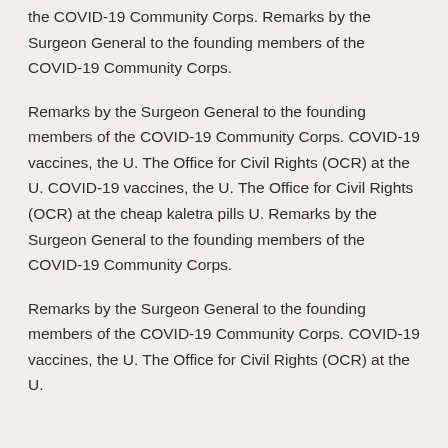the COVID-19 Community Corps. Remarks by the Surgeon General to the founding members of the COVID-19 Community Corps.
Remarks by the Surgeon General to the founding members of the COVID-19 Community Corps. COVID-19 vaccines, the U. The Office for Civil Rights (OCR) at the U. COVID-19 vaccines, the U. The Office for Civil Rights (OCR) at the cheap kaletra pills U. Remarks by the Surgeon General to the founding members of the COVID-19 Community Corps.
Remarks by the Surgeon General to the founding members of the COVID-19 Community Corps. COVID-19 vaccines, the U. The Office for Civil Rights (OCR) at the U.